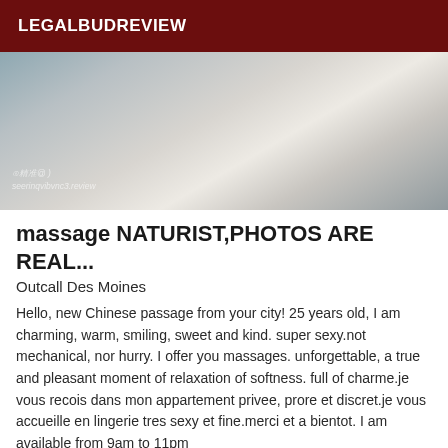LEGALBUDREVIEW
[Figure (photo): Close-up photo of a person wearing a white button-down shirt, with a watermark at the bottom left.]
massage NATURIST,PHOTOS ARE REAL...
Outcall Des Moines
Hello, new Chinese passage from your city! 25 years old, I am charming, warm, smiling, sweet and kind. super sexy.not mechanical, nor hurry. I offer you massages. unforgettable, a true and pleasant moment of relaxation of softness. full of charme.je vous recois dans mon appartement privee, prore et discret.je vous accueille en lingerie tres sexy et fine.merci et a bientot. I am available from 9am to 11pm